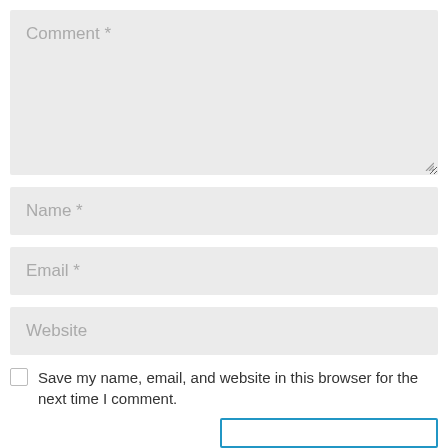[Figure (screenshot): Web comment form with placeholder fields for Comment, Name, Email, Website, a save checkbox, and a partially visible submit button]
Comment *
Name *
Email *
Website
Save my name, email, and website in this browser for the next time I comment.